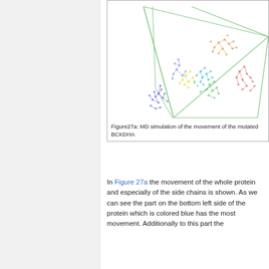[Figure (continuous-plot): MD simulation network graph of mutated BCKDHA protein movement, showing colored clusters of nodes: blue (bottom left, highest movement), yellow, green, teal, orange, and red regions, connected by light green lines forming a triangulated boundary.]
Figure27a: MD simulation of the movement of the mutated BCKDHA
In Figure 27a the movement of the whole protein and especially of the side chains is shown. As we can see the part on the bottom left side of the protein which is colored blue has the most movement. Additionally to this part the